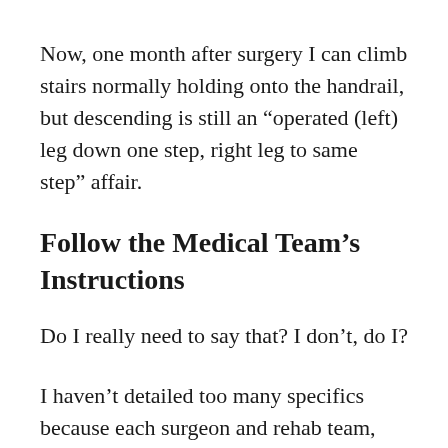Now, one month after surgery I can climb stairs normally holding onto the handrail, but descending is still an “operated (left) leg down one step, right leg to same step” affair.
Follow the Medical Team’s Instructions
Do I really need to say that? I don’t, do I?
I haven’t detailed too many specifics because each surgeon and rehab team, although all quite similar, will have slight variations on the theme. Different surgeons use different components—there are lots of variations. Also